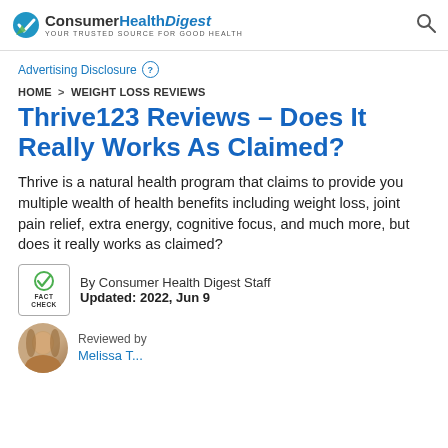ConsumerHealthDigest — Your Trusted Source For Good Health
Advertising Disclosure ?
HOME > WEIGHT LOSS REVIEWS
Thrive123 Reviews – Does It Really Works As Claimed?
Thrive is a natural health program that claims to provide you multiple wealth of health benefits including weight loss, joint pain relief, extra energy, cognitive focus, and much more, but does it really works as claimed?
By Consumer Health Digest Staff
Updated: 2022, Jun 9
Reviewed by
Melissa T...